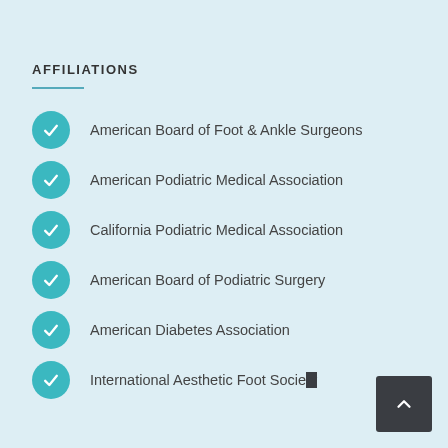AFFILIATIONS
American Board of Foot & Ankle Surgeons
American Podiatric Medical Association
California Podiatric Medical Association
American Board of Podiatric Surgery
American Diabetes Association
International Aesthetic Foot Society